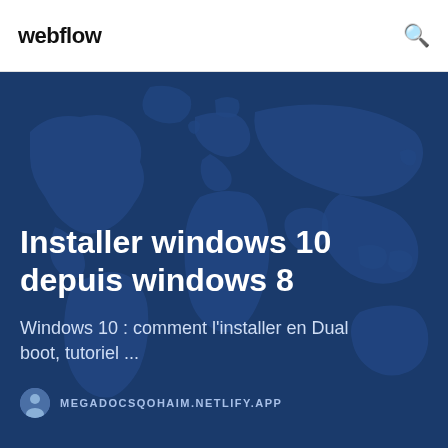webflow
[Figure (illustration): World map on dark blue background used as hero image background]
Installer windows 10 depuis windows 8
Windows 10 : comment l'installer en Dual boot, tutoriel ...
MEGADOCSQOHAIM.NETLIFY.APP